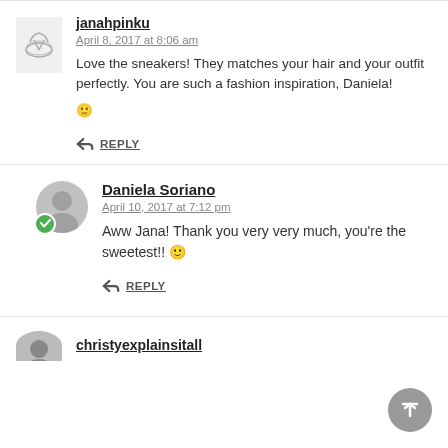janahpinku
April 8, 2017 at 8:06 am
Love the sneakers! They matches your hair and your outfit perfectly. You are such a fashion inspiration, Daniela! 🙂
REPLY
Daniela Soriano
April 10, 2017 at 7:12 pm
Aww Jana! Thank you very very much, you're the sweetest!! 🙂
REPLY
christyexplainsitall